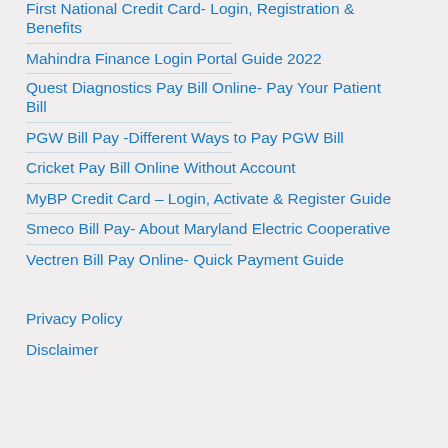First National Credit Card- Login, Registration & Benefits
Mahindra Finance Login Portal Guide 2022
Quest Diagnostics Pay Bill Online- Pay Your Patient Bill
PGW Bill Pay -Different Ways to Pay PGW Bill
Cricket Pay Bill Online Without Account
MyBP Credit Card – Login, Activate & Register Guide
Smeco Bill Pay- About Maryland Electric Cooperative
Vectren Bill Pay Online- Quick Payment Guide
Privacy Policy
Disclaimer